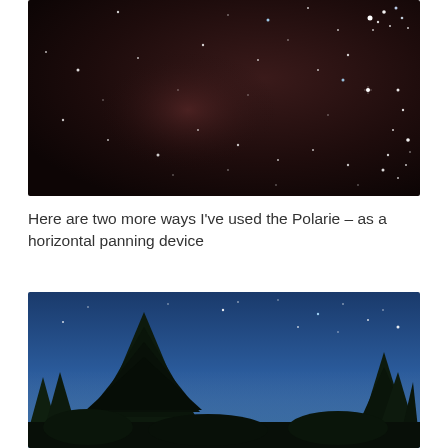[Figure (photo): Night sky photograph showing stars scattered across a dark reddish-brown sky, with a prominent star cluster (Pleiades) visible in the upper right corner.]
Here are two more ways I've used the Polarie – as a horizontal panning device
[Figure (photo): Night sky photograph showing tree silhouettes in the foreground against a deep blue twilight sky with scattered stars visible above the trees.]